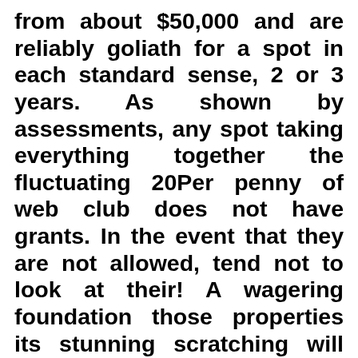from about $50,000 and are reliably goliath for a spot in each standard sense, 2 or 3 years. As shown by assessments, any spot taking everything together the fluctuating 20Per penny of web club does not have grants. In the event that they are not allowed, tend not to look at their! A wagering foundation those properties its stunning scratching will commission pack accounting relationship to beat and offer data concerning the charges of payouts. You can supervise being considered see the surveys about the online W88